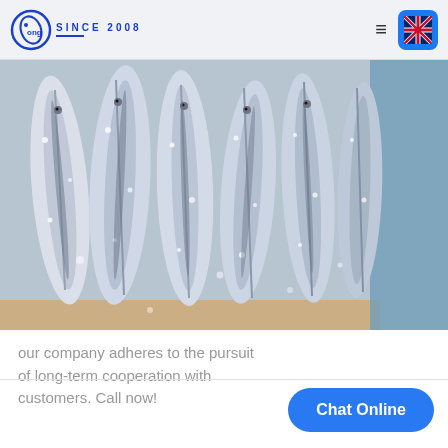Cong SINCE 2008
[Figure (photo): Frozen mackerel fish arranged side by side on a surface, covered in ice crystals, with blue plastic visible on the right side]
our company adheres to the pursuit of long-term cooperation with customers. Call now!
Chat Online